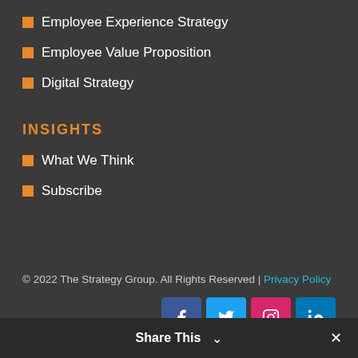Employee Experience Strategy
Employee Value Proposition
Digital Strategy
INSIGHTS
What We Think
Subscribe
© 2022 The Strategy Group. All Rights Reserved | Privacy Policy
[Figure (infographic): Social media icons: Facebook, Twitter, Instagram, LinkedIn]
Share This ∨  ✕